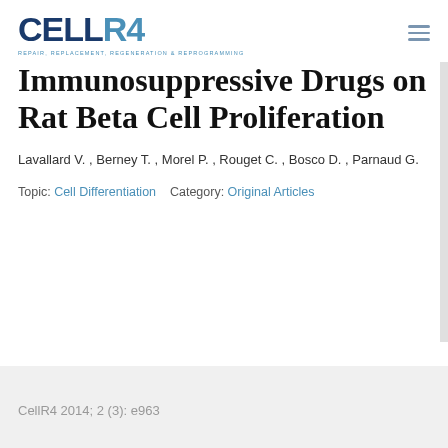CELLR4 — REPAIR, REPLACEMENT, REGENERATION & REPROGRAMMING
Immunosuppressive Drugs on Rat Beta Cell Proliferation
Lavallard V. , Berney T. , Morel P. , Rouget C. , Bosco D. , Parnaud G.
Topic: Cell Differentiation   Category: Original Articles
CellR4 2014; 2 (3): e963